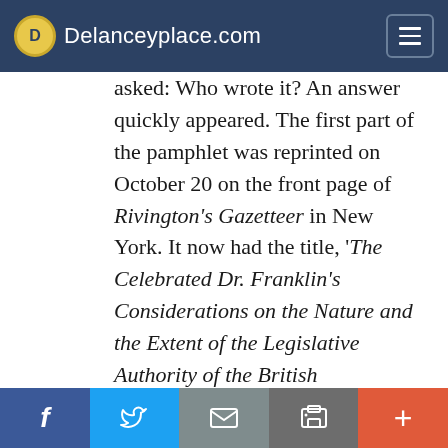Delanceyplace.com
asked: Who wrote it? An answer quickly appeared. The first part of the pamphlet was reprinted on October 20 on the front page of Rivington's Gazetteer in New York. It now had the title, 'The Celebrated Dr. Franklin's Considerations on the Nature and the Extent of the Legislative Authority of the British Parliament.' That was enough to guarantee widespread publicity.